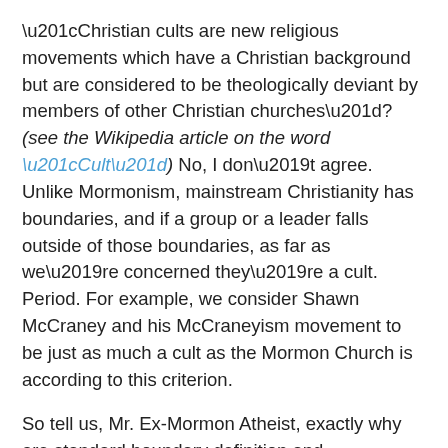“Christian cults are new religious movements which have a Christian background but are considered to be theologically deviant by members of other Christian churches”? (see the Wikipedia article on the word “Cult”) No, I don’t agree. Unlike Mormonism, mainstream Christianity has boundaries, and if a group or a leader falls outside of those boundaries, as far as we’re concerned they’re a cult. Period. For example, we consider Shawn McCraney and his McCraneyism movement to be just as much a cult as the Mormon Church is according to this criterion.
So tell us, Mr. Ex-Mormon Atheist, exactly why are standard boundary definition and maintenance problems here? After all, if someone claims to believe in a deity then they’re no longer an Atheist, are they? And if someone…